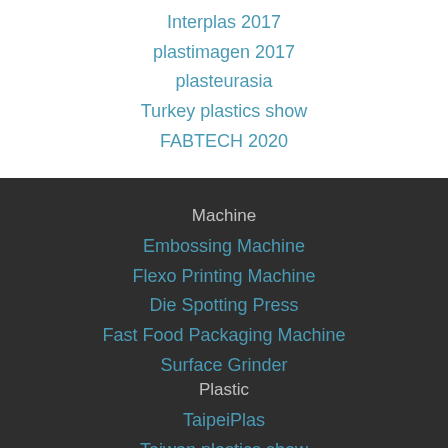Interplas 2017
plastimagen 2017
plasteurasia
Turkey plastics show
FABTECH 2020
Machine
Embossing Machine
Flexo Printing Machine
Die Spotting Press
Fast Food Packaging Machine
Surface Grinder
Plastic
TaipeiPlas
Taiwan plastics show
plasticsodrubberindonesia 2017